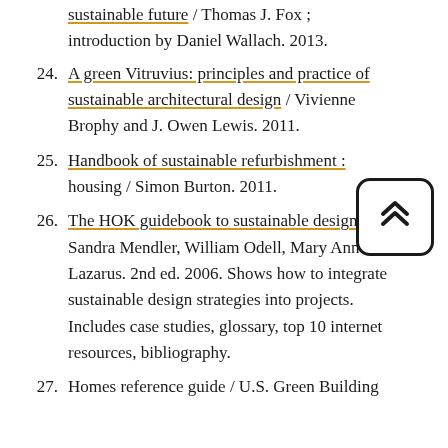(continuation) sustainable future / Thomas J. Fox ; introduction by Daniel Wallach. 2013.
24. A green Vitruvius: principles and practice of sustainable architectural design / Vivienne Brophy and J. Owen Lewis. 2011.
25. Handbook of sustainable refurbishment : housing / Simon Burton. 2011.
26. The HOK guidebook to sustainable design / Sandra Mendler, William Odell, Mary Ann Lazarus. 2nd ed. 2006. Shows how to integrate sustainable design strategies into projects. Includes case studies, glossary, top 10 internet resources, bibliography.
27. Homes reference guide / U.S. Green Building